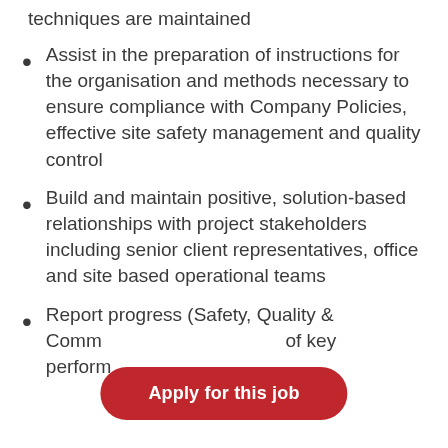techniques are maintained
Assist in the preparation of instructions for the organisation and methods necessary to ensure compliance with Company Policies, effective site safety management and quality control
Build and maintain positive, solution-based relationships with project stakeholders including senior client representatives, office and site based operational teams
Report progress (Safety, Quality & Comm... of key perform... nally and